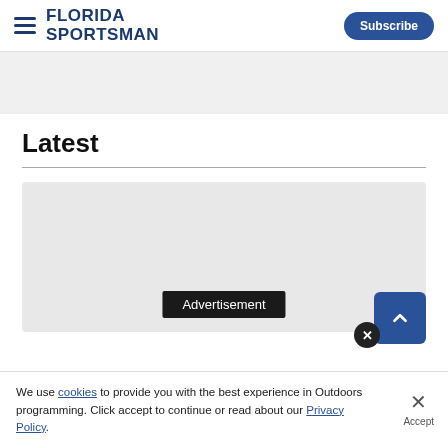FLORIDA SPORTSMAN | Subscribe
[Figure (other): Gray advertisement banner area]
Latest
[Figure (photo): Article image placeholder (light gray rectangle) with Advertisement overlay label at center-bottom, scroll-to-top button (blue, chevron up) and close circle button at bottom right]
We use cookies to provide you with the best experience in Outdoors programming. Click accept to continue or read about our Privacy Policy.